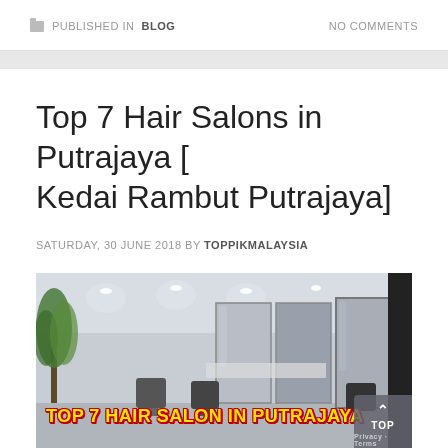PUBLISHED IN BLOG   NO COMMENTS
Top 7 Hair Salons in Putrajaya [ Kedai Rambut Putrajaya]
SATURDAY, 30 JUNE 2018 BY TOPPIKMALAYSIA
[Figure (photo): Interior of a modern hair salon with plants, styling chairs, mirrors, and recessed ceiling lights. Overlay text reads: TOP 7 HAIR SALON IN PUTRAJAYA]